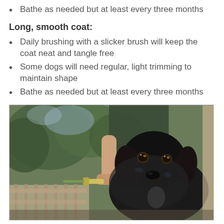Bathe as needed but at least every three months
Long, smooth coat:
Daily brushing with a slicker brush will keep the coat neat and tangle free
Some dogs will need regular, light trimming to maintain shape
Bathe as needed but at least every three months
[Figure (photo): A black dog being bathed outdoors with a garden hose, held by a person. The dog is wet and looking at the camera. Green trees and garden furniture visible in background.]